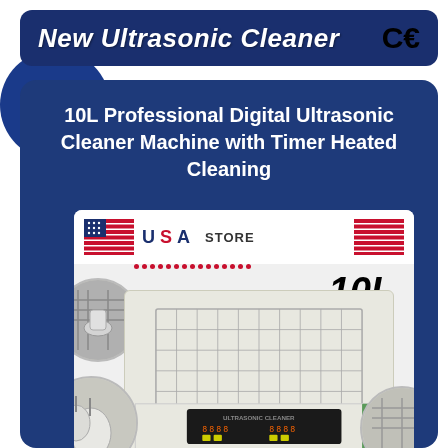New Ultrasonic Cleaner
10L Professional Digital Ultrasonic Cleaner Machine with Timer Heated Cleaning
[Figure (photo): Product listing image showing a 10L ultrasonic cleaner machine with USA Store branding, displaying the machine with a wire basket, digital control panel, and eBay watermark at bottom. Circular inset images show detail shots of items being cleaned.]